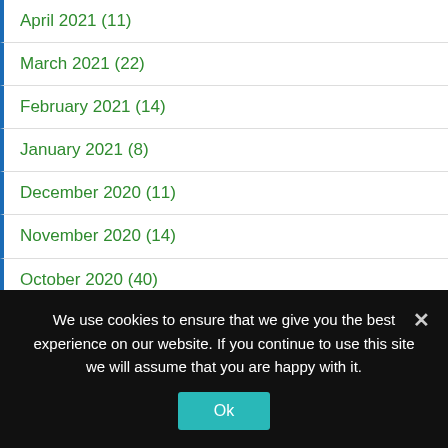April 2021 (11)
March 2021 (22)
February 2021 (14)
January 2021 (8)
December 2020 (11)
November 2020 (14)
October 2020 (40)
September 2020 (31)
August 2020 (13)
We use cookies to ensure that we give you the best experience on our website. If you continue to use this site we will assume that you are happy with it.